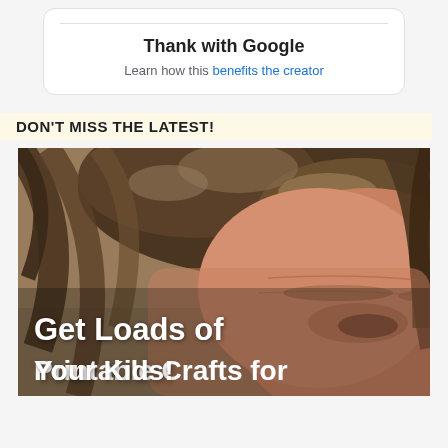Thank with Google
Learn how this benefits the creator
DON'T MISS THE LATEST!
[Figure (photo): Close-up blurred photo of a woman's face with brown hair, with overlaid white bold text reading 'Get Loads of Printable Crafts for Your Kids!']